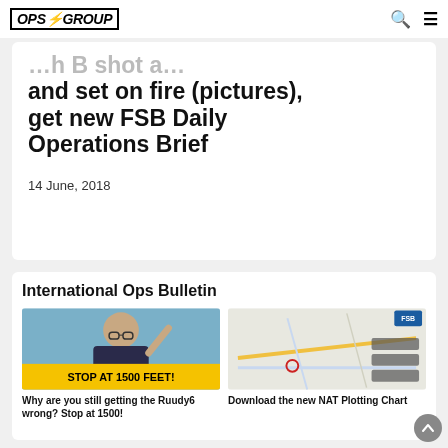OPS GROUP
and set on fire (pictures), get new FSB Daily Operations Brief
14 June, 2018
International Ops Bulletin
[Figure (photo): Man pointing finger upward with text overlay STOP AT 1500 FEET!]
Why are you still getting the Ruudy6 wrong? Stop at 1500!
[Figure (map): NAT Plotting Chart map showing flight routes with FSB logo in top right]
Download the new NAT Plotting Chart